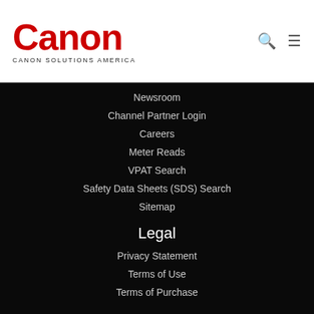[Figure (logo): Canon Solutions America logo with red Canon wordmark and subtitle text]
Newsroom
Channel Partner Login
Careers
Meter Reads
VPAT Search
Safety Data Sheets (SDS) Search
Sitemap
Legal
Privacy Statement
Terms of Use
Terms of Purchase
Social